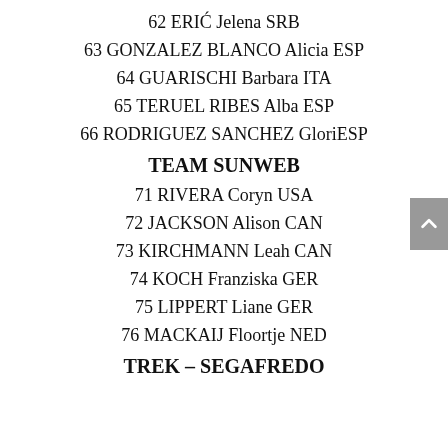62 ERIĆ Jelena SRB
63 GONZALEZ BLANCO Alicia ESP
64 GUARISCHI Barbara ITA
65 TERUEL RIBES Alba ESP
66 RODRIGUEZ SANCHEZ GloriESP
TEAM SUNWEB
71 RIVERA Coryn USA
72 JACKSON Alison CAN
73 KIRCHMANN Leah CAN
74 KOCH Franziska GER
75 LIPPERT Liane GER
76 MACKAIJ Floortje NED
TREK – SEGAFREDO